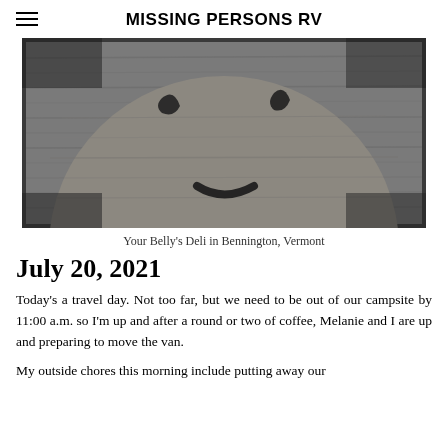MISSING PERSONS RV
[Figure (photo): Black and white photograph of a circular wooden sign with a smiley face carved or painted on it, shown close-up with dark edges/border around the image.]
Your Belly's Deli in Bennington, Vermont
July 20, 2021
Today's a travel day. Not too far, but we need to be out of our campsite by 11:00 a.m. so I'm up and after a round or two of coffee, Melanie and I are up and preparing to move the van.
My outside chores this morning include putting away our